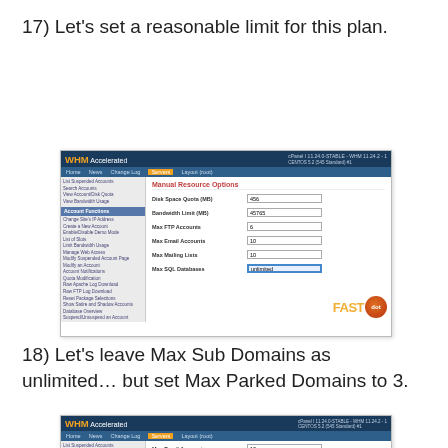17) Let's set a reasonable limit for this plan.
[Figure (screenshot): WHM Accelerated control panel screenshot showing Manual Resource Options form with fields: Disk Space Quota (MB) = 456, Bandwidth Limit (MB) = 45765, Max FTP Accounts = 6, Max Email Accounts = 10, Max Mailing Lists = 10, Max SQL Databases (highlighted). Left sidebar shows account management links. FASTdot watermark visible.]
18) Let's leave Max Sub Domains as unlimited... but set Max Parked Domains to 3.
[Figure (screenshot): WHM Accelerated control panel screenshot showing lower portion of Manual Resource Options form with fields: Max Email Accounts = 10, Max Mailing Lists = 10. Left sidebar visible with account management links.]